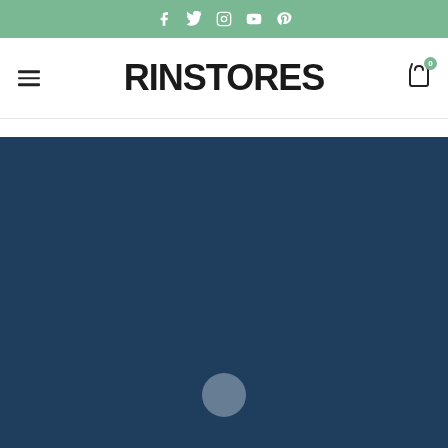Social media icons: Facebook, Twitter, Instagram, YouTube, Pinterest
[Figure (logo): RINSTORES logo in bold black uppercase text with hamburger menu icon on left and shopping cart icon with badge '0' on right]
[Figure (other): Dark navy blue section with a loading spinner/circle indicator in the lower center]